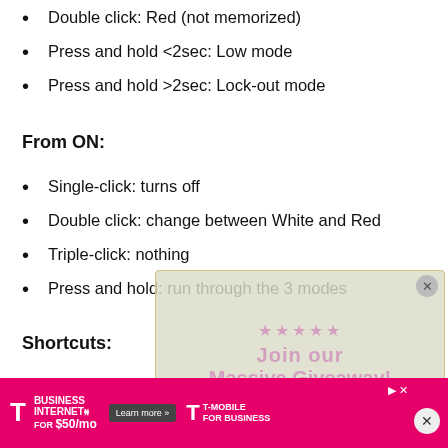Single click: (is last used mode, mode memory)
Double click: Red (not memorized)
Press and hold <2sec: Low mode
Press and hold >2sec: Lock-out mode
From ON:
Single-click: turns off
Double click: change between White and Red
Triple-click: nothing
Press and hold: run through the 3 modes
Shortcuts:
To Turbo: none
To Low: n